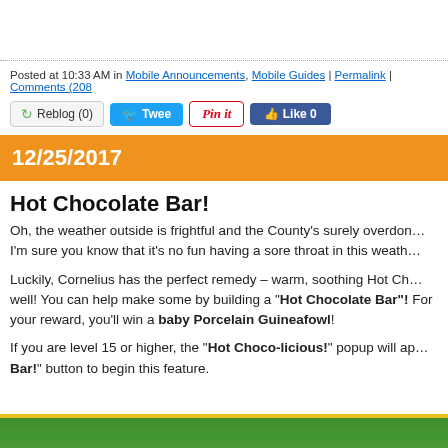Posted at 10:33 AM in Mobile Announcements, Mobile Guides | Permalink | Comments (208)
[Figure (screenshot): Social sharing buttons: Reblog (0), Tweet, Pin it, Like 0]
12/25/2017
Hot Chocolate Bar!
Oh, the weather outside is frightful and the County's surely overdone. I'm sure you know that it's no fun having a sore throat in this weather.
Luckily, Cornelius has the perfect remedy – warm, soothing Hot Chocolate to help you get well! You can help make some by building a "Hot Chocolate Bar"! For your reward, you'll win a baby Porcelain Guineafowl!
If you are level 15 or higher, the "Hot Choco-licious!" popup will appear. Click the "Build the Bar!" button to begin this feature.
[Figure (screenshot): Bottom game screenshot strip showing green game environment]